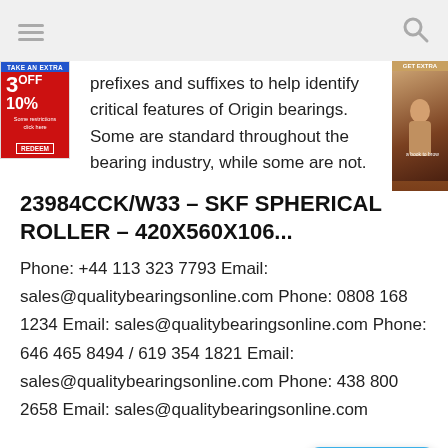navigation and search icons
prefixes and suffixes to help identify critical features of Origin bearings. Some are standard throughout the bearing industry, while some are not.
23984CCK/W33 – SKF SPHERICAL ROLLER – 420X560X106...
Phone: +44 113 323 7793 Email: sales@qualitybearingsonline.com Phone: 0808 168 1234 Email: sales@qualitybearingsonline.com Phone: 646 465 8494 / 619 354 1821 Email: sales@qualitybearingsonline.com Phone: 438 800 2658 Email: sales@qualitybearingsonline.com